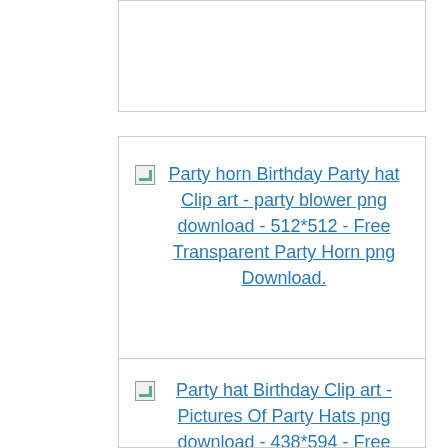[Figure (other): Truncated card at top of page — empty white box with border]
[Figure (other): Card with broken image link: Party horn Birthday Party hat Clip art - party blower png download - 512*512 - Free Transparent Party Horn png Download.]
[Figure (other): Card with broken image link: Party hat Birthday Clip art - Pictures Of Party Hats png download - 438*594 - Free Transparent Party Hat png Download.]